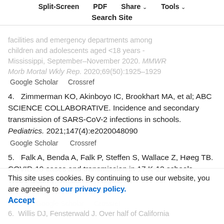Split-Screen   PDF   Share ∨   Tools ∨
Search Site
facilities and emergency departments among children and adolescents aged <18 years - Mississippi, September–November 2020. MMWR Morb Mortal Wkly Rep. 2020;69(50):1925–1929
Google Scholar   Crossref
4.   Zimmerman KO, Akinboyo IC, Brookhart MA, et al; ABC SCIENCE COLLABORATIVE. Incidence and secondary transmission of SARS-CoV-2 infections in schools. Pediatrics. 2021;147(4):e2020048090
Google Scholar   Crossref
5.   Falk A, Benda A, Falk P, Steffen S, Wallace Z, Høeg TB. COVID-19 cases and transmission in 17 K-12 schools - Wood County, Wisconsin, August 31-November 29, 2020. MMWR Morb Mortal Wkly Rep. 2021;...
This site uses cookies. By continuing to use our website, you are agreeing to our privacy policy. Accept
6.   Willis DJ, Fensterwald J. Over half of California...